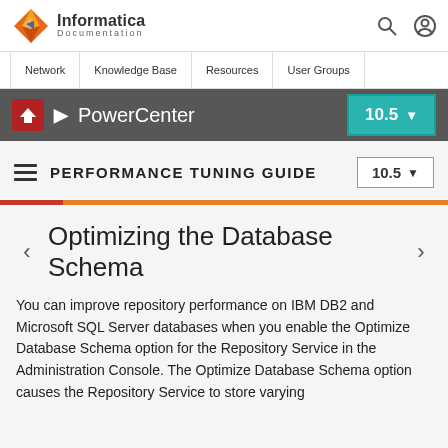[Figure (logo): Informatica Documentation logo with orange diamond shape and text]
Network | Knowledge Base | Resources | User Groups
PowerCenter 10.5
PERFORMANCE TUNING GUIDE 10.5
Optimizing the Database Schema
You can improve repository performance on IBM DB2 and Microsoft SQL Server databases when you enable the Optimize Database Schema option for the Repository Service in the Administration Console. The Optimize Database Schema option causes the Repository Service to store varying